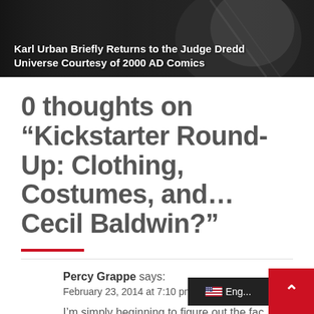[Figure (photo): Dark hero image showing a figure in armor/costume; overlaid white text reads 'Karl Urban Briefly Returns to the Judge Dredd Universe Courtesy of 2000 AD Comics']
0 thoughts on “Kickstarter Round-Up: Clothing, Costumes, and… Cecil Baldwin?”
Percy Grappe says:
February 23, 2014 at 7:10 pm
I’m simply beginning to figure out the fac… Tumblr features a much wider advanta…